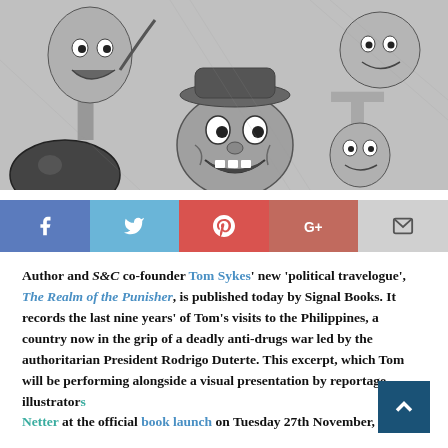[Figure (illustration): Black and white pencil/ink illustration showing multiple caricature faces and figures including a grinning grotesque character in the center wearing a hat, surrounded by other expressive faces and figures in a collage style. Letters 'T' visible on left side.]
[Figure (infographic): Social media sharing bar with five buttons: Facebook (blue, f icon), Twitter (light blue, bird icon), Pinterest (red, P icon), Google+ (red-brown, G+ icon), Email (grey, envelope icon)]
Author and S&C co-founder Tom Sykes' new 'political travelogue', The Realm of the Punisher, is published today by Signal Books. It records the last nine years' of Tom's visits to the Philippines, a country now in the grip of a deadly anti-drugs war led by the authoritarian President Rodrigo Duterte. This excerpt, which Tom will be performing alongside a visual presentation by reportage illustrators Netter at the official book launch on Tuesday 27th November,